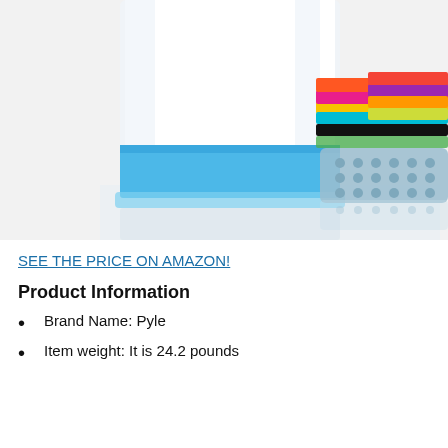[Figure (photo): A blue and white portable washing machine with a laundry basket filled with colorful folded clothes next to it, on a white reflective surface.]
SEE THE PRICE ON AMAZON!
Product Information
Brand Name: Pyle
Item weight: It is 24.2 pounds